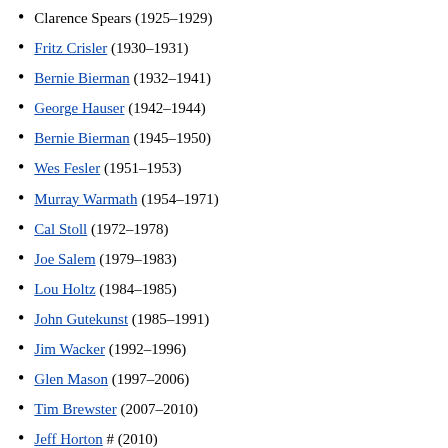Clarence Spears (1925–1929)
Fritz Crisler (1930–1931)
Bernie Bierman (1932–1941)
George Hauser (1942–1944)
Bernie Bierman (1945–1950)
Wes Fesler (1951–1953)
Murray Warmath (1954–1971)
Cal Stoll (1972–1978)
Joe Salem (1979–1983)
Lou Holtz (1984–1985)
John Gutekunst (1985–1991)
Jim Wacker (1992–1996)
Glen Mason (1997–2006)
Tim Brewster (2007–2010)
Jeff Horton # (2010)
Jerry Kill (2011–2015)
Tracy Claeys (2015–2016)
P. J. Fleck (2017– )
# denotes interim head coach
Oregon Ducks head football